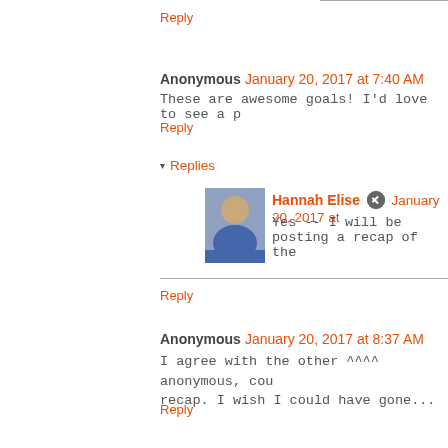Reply
Anonymous January 20, 2017 at 7:40 AM
These are awesome goals! I'd love to see a p
Reply
▾ Replies
Hannah Elise  January 20, 2017 at
Yes -- I will be posting a recap of the
Reply
Anonymous January 20, 2017 at 8:37 AM
I agree with the other ^^^^ anonymous, cou recap. I wish I could have gone...
Reply